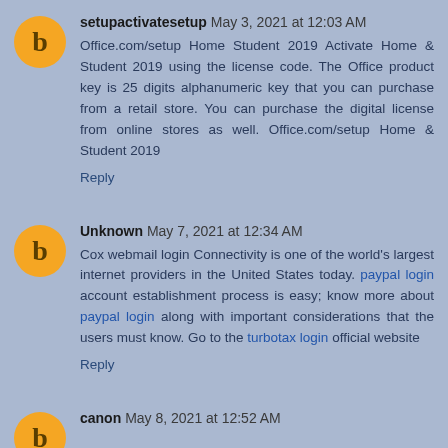setupactivatesetup May 3, 2021 at 12:03 AM
Office.com/setup Home Student 2019 Activate Home & Student 2019 using the license code. The Office product key is 25 digits alphanumeric key that you can purchase from a retail store. You can purchase the digital license from online stores as well. Office.com/setup Home & Student 2019
Reply
Unknown May 7, 2021 at 12:34 AM
Cox webmail login Connectivity is one of the world's largest internet providers in the United States today. paypal login account establishment process is easy; know more about paypal login along with important considerations that the users must know. Go to the turbotax login official website
Reply
canon May 8, 2021 at 12:52 AM